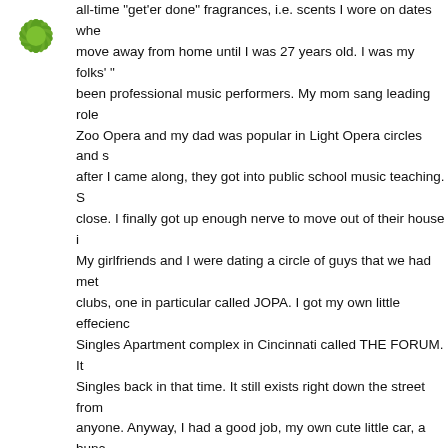[Figure (logo): Green circular sunburst/flower logo with radiating petals on white background]
all-time "get'er done" fragrances, i.e. scents I wore on dates whe... move away from home until I was 27 years old. I was my folks'... been professional music performers. My mom sang leading role... Zoo Opera and my dad was popular in Light Opera circles and s... after I came along, they got into public school music teaching. S... close. I finally got up enough nerve to move out of their house i... My girlfriends and I were dating a circle of guys that we had met... clubs, one in particular called JOPA. I got my own little effecienc... Singles Apartment complex in Cincinnati called THE FORUM. It... Singles back in that time. It still exists right down the street from... anyone. Anyway, I had a good job, my own cute little car, a bunc... boyfriend. Something was definitely missing. When I finally got n... didn't go WILD, but let's face it, it was close to the SEXY SEVEN... lagger now. I dated a whole lot!!! And I wore fragrance. I experim... wonderful time doing it. Estee Lauder's YOUTH DEW, and some... fragrances (can't remember the names)but remember one name... Secret was a winner. Does anyone remember CALENDRE? Lov... WAS FUN BEING YOUNG, THIN, AND BUILT, and being Single... many of them and it makes me mad I can't remember the names... and it's been a long time! On the night my husband Ken propose... NEW YEARS EVE l979 into 1980, I was wearing PRIVATE COL... favorite! Did any of you wear JUNGLE GARDENIA? Wish I coul... Anyway, I gotta go now so I can deal with the kids. You gals are...